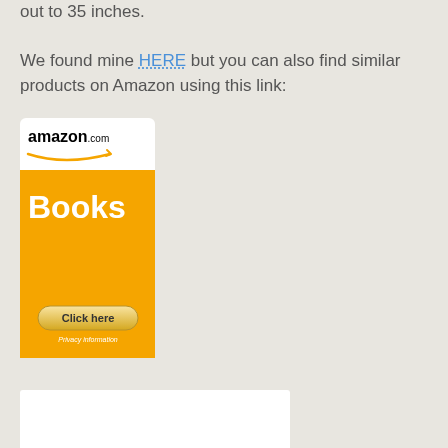out to 35 inches.

We found mine HERE but you can also find similar products on Amazon using this link:
[Figure (other): Amazon.com Books advertisement banner with orange background, 'Click here' button, and 'Privacy information' text]
[Figure (other): White rectangle at the bottom of the page, partial view of another image or advertisement]